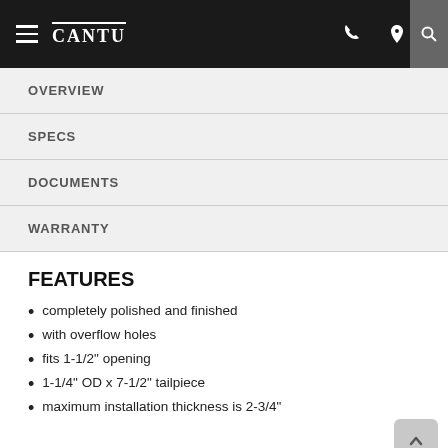CANTU — navigation bar with hamburger menu, phone icon, location icon, search icon
OVERVIEW
SPECS
DOCUMENTS
WARRANTY
FEATURES
completely polished and finished
with overflow holes
fits 1-1/2" opening
1-1/4" OD x 7-1/2" tailpiece
maximum installation thickness is 2-3/4"